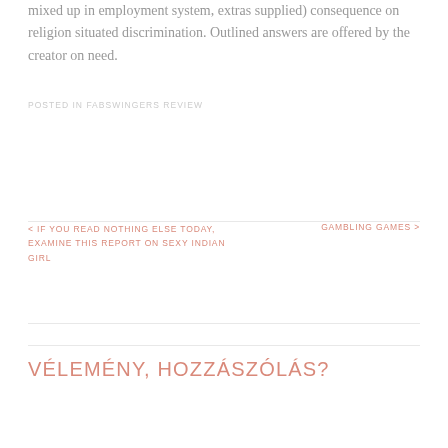mixed up in employment system, extras supplied) consequence on religion situated discrimination. Outlined answers are offered by the creator on need.
POSTED IN FABSWINGERS REVIEW
< IF YOU READ NOTHING ELSE TODAY, EXAMINE THIS REPORT ON SEXY INDIAN GIRL
GAMBLING GAMES >
VÉLEMÉNY, HOZZÁSZÓLÁS?